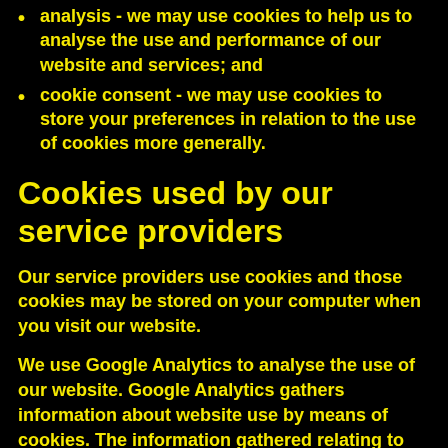analysis - we may use cookies to help us to analyse the use and performance of our website and services; and
cookie consent - we may use cookies to store your preferences in relation to the use of cookies more generally.
Cookies used by our service providers
Our service providers use cookies and those cookies may be stored on your computer when you visit our website.
We use Google Analytics to analyse the use of our website. Google Analytics gathers information about website use by means of cookies. The information gathered relating to our website is used to create reports about the use of our website. Google's privacy